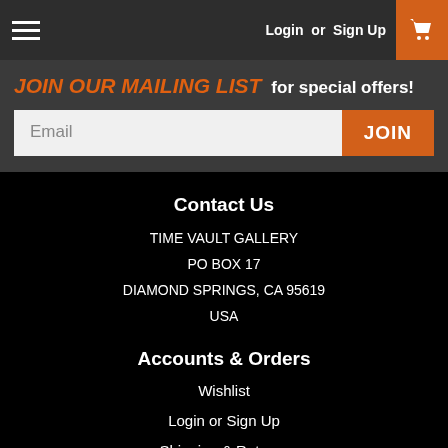Login or Sign Up
JOIN OUR MAILING LIST for special offers!
Email  JOIN
Contact Us
TIME VAULT GALLERY
PO BOX 17
DIAMOND SPRINGS, CA 95619
USA
Accounts & Orders
Wishlist
Login or Sign Up
Shipping & Returns
Quick Links
JUST ADDED